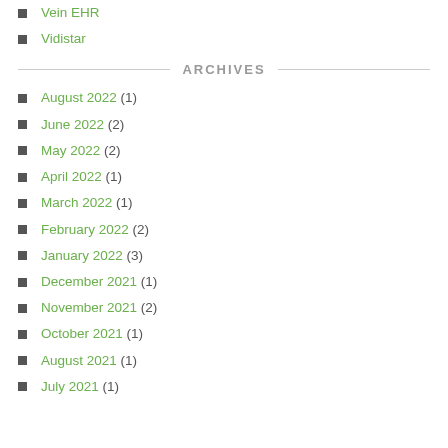Vein EHR
Vidistar
ARCHIVES
August 2022 (1)
June 2022 (2)
May 2022 (2)
April 2022 (1)
March 2022 (1)
February 2022 (2)
January 2022 (3)
December 2021 (1)
November 2021 (2)
October 2021 (1)
August 2021 (1)
July 2021 (1)